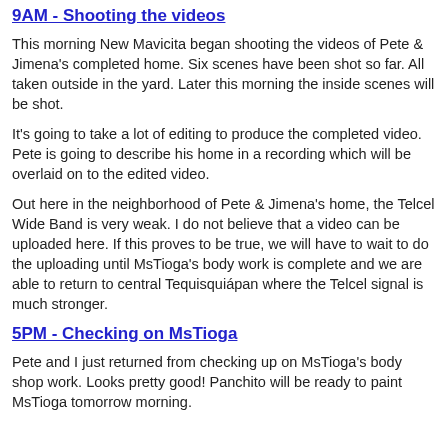9AM - Shooting the videos
This morning New Mavicita began shooting the videos of Pete & Jimena's completed home. Six scenes have been shot so far. All taken outside in the yard. Later this morning the inside scenes will be shot.
It's going to take a lot of editing to produce the completed video. Pete is going to describe his home in a recording which will be overlaid on to the edited video.
Out here in the neighborhood of Pete & Jimena's home, the Telcel Wide Band is very weak. I do not believe that a video can be uploaded here. If this proves to be true, we will have to wait to do the uploading until MsTioga's body work is complete and we are able to return to central Tequisquiápan where the Telcel signal is much stronger.
5PM - Checking on MsTioga
Pete and I just returned from checking up on MsTioga's body shop work. Looks pretty good! Panchito will be ready to paint MsTioga tomorrow morning.